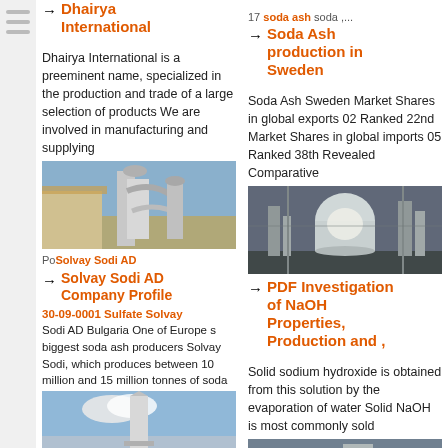Dhairya International
Dhairya International is a preeminent name, specialized in the production and trade of a large selection of products We are involved in manufacturing and supplying
[Figure (photo): Industrial machinery / soda ash production equipment outdoors]
Solvay Sodi AD Company Profile
30-09-0001 Sulfate Solvay Sodi AD Bulgaria One of Europe s biggest soda ash producers Solvay Sodi, which produces between 10 million and 15 million tonnes of soda
[Figure (photo): Industrial rocket or tower structure]
17 soda ash soda ,...
Soda Ash production in Sweden
Soda Ash Sweden Market Shares in global exports 02 Ranked 22nd Market Shares in global imports 05 Ranked 38th Revealed Comparative
[Figure (photo): Industrial factory interior with large vessels and pipes]
PDF Investigation of NaOH Properties, Production and ,
Solid sodium hydroxide is obtained from this solution by the evaporation of water Solid NaOH is most commonly sold
[Figure (photo): Industrial chemical plant equipment]